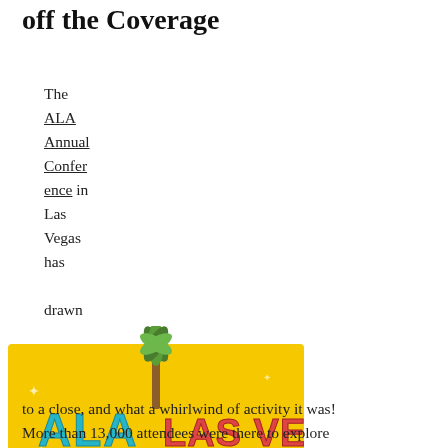off the Coverage
The ALA Annual Conference in Las Vegas has drawn to a close, and what a whirlwind of activity it was! More than 13,000 attendees were there to explore the over 2,500 presentations, meetings, and discussion groups, and exhibits available during the event. Over the next few days, we'll be posting lots of great coverage of YA lit events at ALA Annual, so stay tuned– even if you couldn't make it this time, you'll feel like you were there too!
[Figure (logo): ALA Las Vegas conference logo with palm tree, June 26–July 1, 2014, www.alaannual.org]